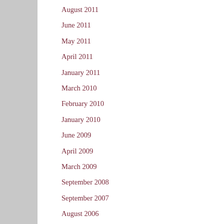August 2011
June 2011
May 2011
April 2011
January 2011
March 2010
February 2010
January 2010
June 2009
April 2009
March 2009
September 2008
September 2007
August 2006
August 2005
August 2004
August 2003